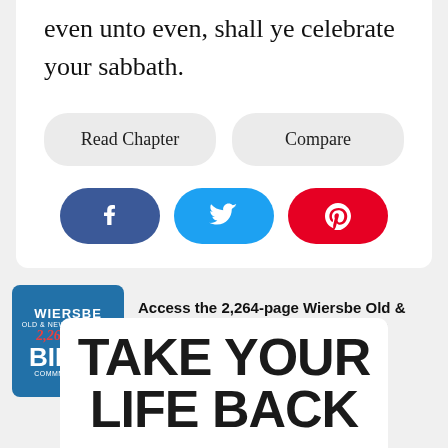even unto even, shall ye celebrate your sabbath.
Read Chapter
Compare
[Figure (infographic): Social share buttons: Facebook (dark blue), Twitter (light blue), Pinterest (red)]
[Figure (infographic): Wiersbe Old & New Testament 2,264-page Bible Commentary advertisement badge in blue with red script]
Access the 2,264-page Wiersbe Old & New Testament Bible Commentary!
SUBSCRIBE TODAY
TAKE YOUR LIFE BACK